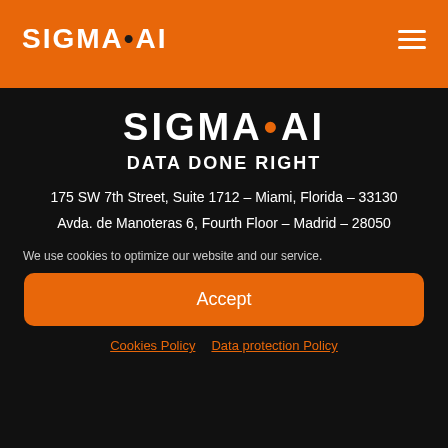SIGMA•AI
[Figure (logo): SIGMA•AI logo in large white bold text on black background with orange dot, with tagline DATA DONE RIGHT]
175 SW 7th Street, Suite 1712 – Miami, Florida – 33130
Avda. de Manoteras 6, Fourth Floor – Madrid – 28050
We use cookies to optimize our website and our service.
Accept
Cookies Policy  Data protection Policy